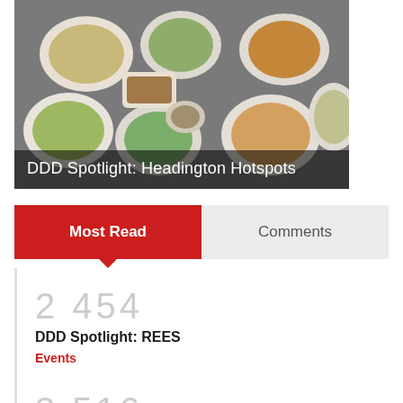[Figure (photo): Overhead/top-down photo of various food dishes and plates on a table]
DDD Spotlight: Headington Hotspots
Most Read
Comments
2 454
DDD Spotlight: REES
Events
3 516